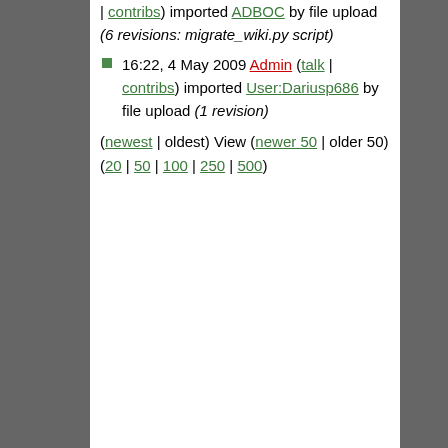| contribs) imported ADBOC by file upload (6 revisions: migrate_wiki.py script)
16:22, 4 May 2009 Admin (talk | contribs) imported User:Dariusp686 by file upload (1 revision)
(newest | oldest) View (newer 50 | older 50) (20 | 50 | 100 | 250 | 500)